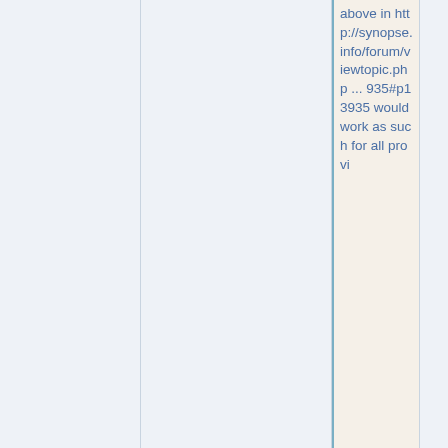above in http://synopse.info/forum/viewtopic.php ... 935#p139935 would work as such for all provi